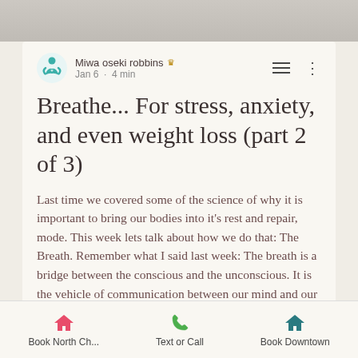[Figure (photo): Top strip showing a blurred light gray/beige background image]
Miwa oseki robbins  Jan 6 · 4 min
Breathe... For stress, anxiety, and even weight loss (part 2 of 3)
Last time we covered some of the science of why it is important to bring our bodies into it's rest and repair, mode. This week lets talk about how we do that: The Breath. Remember what I said last week: The breath is a bridge between the conscious and the unconscious. It is the vehicle of communication between our mind and our body. Lets talk about belly breathing.
Book North Ch...   Text or Call   Book Downtown